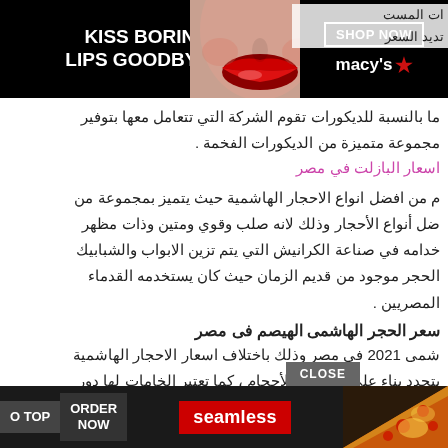[Figure (screenshot): Macy's advertisement banner: KISS BORING LIPS GOODBYE with woman's face and red lips, SHOP NOW button and Macy's star logo]
ات المست
تديد السعر
ما بالنسبة للديكورات تقوم الشركة التي تتعامل معها بتوفير مجموعة متميزة من الديكورات الفخمة .
اسعار البازلت في مصر
م من افضل انواع الاحجار الهاشمية حيث يتميز بمجموعة من ضل أنواع الأحجار وذلك لانه صلب وقوي ومتين وذات مظهر خدامه في صناعة الكرانيش التي يتم تزين الابواب والشبابيك الحجر موجود من قديم الزمان حيث كان يستخدمه القدماء المصريين .
سعر الحجر الهاشمى الهيصم فى مصر
شمى 2021 في مصر وذلك باختلاف اسعار الاحجار الهاشمية يتحدد بناء على الألوان والأحجام ، كما تعتبر الخامات لها دور مال الديكورية في المنازل والقصور، حيث أن حجر الواجهات ب احجار الاسلس أيضا وذلك لأنه قد يكون صلب أو لين، كما ظلقس الي
[Figure (screenshot): Seamless food delivery advertisement: pizza image, seamless logo in red, ORDER NOW button, O TOP button]
CLOSE